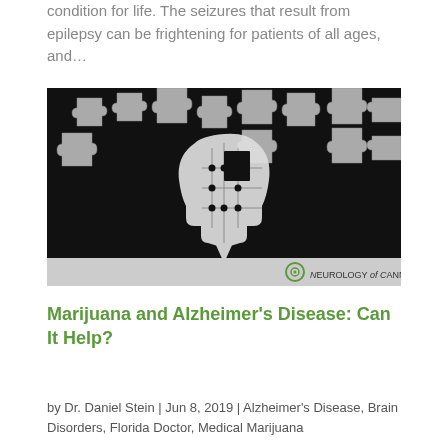condition for life. The seizures that result from epilepsy can be frightening for patients of all ages, and…
[Figure (illustration): Black background image with puzzle pieces scattered around a white silhouette of a human head, suggesting cognitive/brain puzzle theme. Neurology of Cannabis logo at bottom right.]
Marijuana and Alzheimer's Disease: Can It Help?
by Dr. Daniel Stein | Jun 8, 2019 | Alzheimer's Disease, Brain Disorders, Florida Doctor, Medical Marijuana